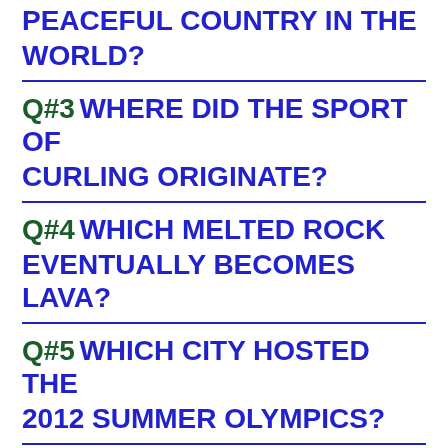PEACEFUL COUNTRY IN THE WORLD?
Q#3 WHERE DID THE SPORT OF CURLING ORIGINATE?
Q#4 WHICH MELTED ROCK EVENTUALLY BECOMES LAVA?
Q#5 WHICH CITY HOSTED THE 2012 SUMMER OLYMPICS?
Telenor Quiz Today 24